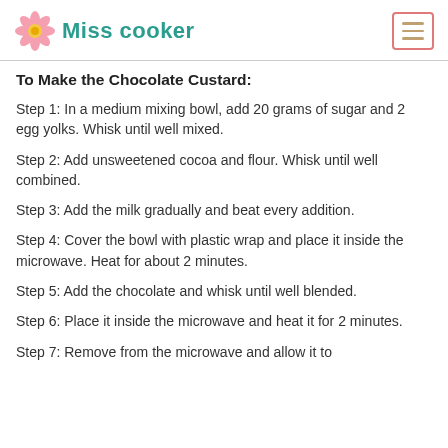Miss cooker
To Make the Chocolate Custard:
Step 1: In a medium mixing bowl, add 20 grams of sugar and 2 egg yolks. Whisk until well mixed.
Step 2: Add unsweetened cocoa and flour. Whisk until well combined.
Step 3: Add the milk gradually and beat every addition.
Step 4: Cover the bowl with plastic wrap and place it inside the microwave. Heat for about 2 minutes.
Step 5: Add the chocolate and whisk until well blended.
Step 6: Place it inside the microwave and heat it for 2 minutes.
Step 7: Remove from the microwave and allow it to...